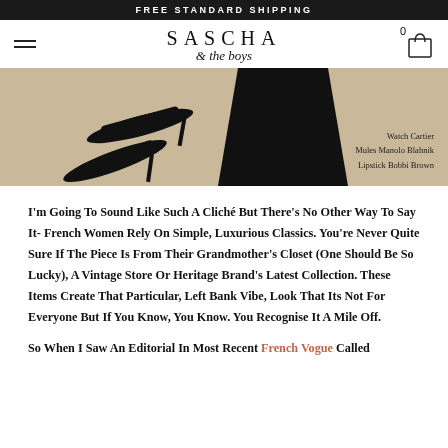FREE STANDARD SHIPPING
SASCHA & the boys
[Figure (photo): Fashion editorial image with black mules and black skirt on tan background. Credits: Watch Cartier, Mules Manolo Blahnik, Lipstick Bobbi Brown]
Watch Cartier
Mules Manolo Blahnik
Lipstick Bobbi Brown
I'm Going To Sound Like Such A Cliché But There's No Other Way To Say It- French Women Rely On Simple, Luxurious Classics. You're Never Quite Sure If The Piece Is From Their Grandmother's Closet (One Should Be So Lucky), A Vintage Store Or Heritage Brand's Latest Collection. These Items Create That Particular, Left Bank Vibe, Look That Its Not For Everyone But If You Know, You Know. You Recognise It A Mile Off.
So When I Saw An Editorial In Most Recent French Vogue Called